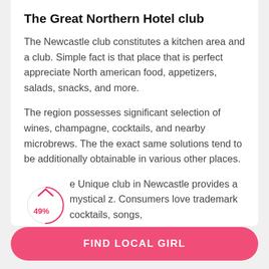The Great Northern Hotel club
The Newcastle club constitutes a kitchen area and a club. Simple fact is that place that is perfect appreciate North american food, appetizers, salads, snacks, and more.
The region possesses significant selection of wines, champagne, cocktails, and nearby microbrews. The the exact same solutions tend to be additionally obtainable in various other places.
[Figure (pie-chart): Partial pie/donut chart showing 49% label with arc]
e Unique club in Newcastle provides a mystical z. Consumers love trademark cocktails, songs, solutions, and more.
FIND LOCAL GIRL